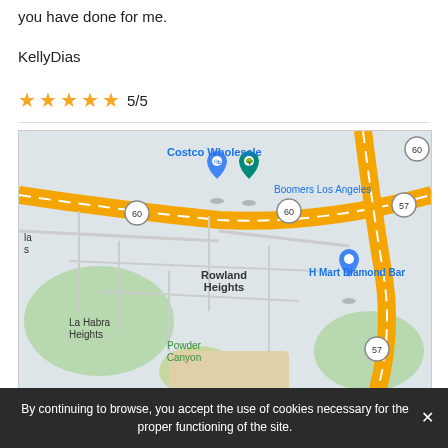you have done for me.
KellyDias
★★★★★ 5/5
[Figure (map): Google Maps screenshot showing area around Rowland Heights, California, featuring Costco Wholesale, Boomers Los Angeles, H Mart Diamond Bar, La Habra Heights, Powder Canyon. Route 60 and 57 visible.]
By continuing to browse, you accept the use of cookies necessary for the proper functioning of the site.